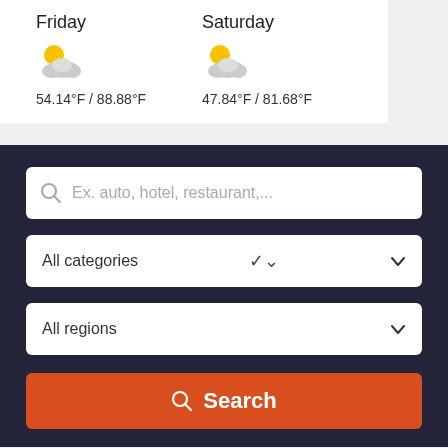Friday | 54.14°F / 88.88°F
Saturday | 47.84°F / 81.68°F
[Figure (screenshot): Weather widget showing Friday and Saturday forecast with partly cloudy icons and temperature ranges]
Ex. auto, hotel, restaurant,...
All categories
All regions
Search